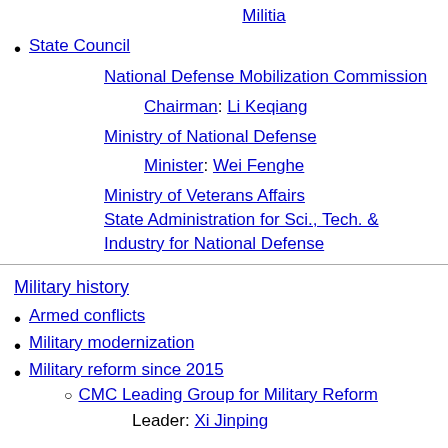Militia
State Council
National Defense Mobilization Commission
Chairman: Li Keqiang
Ministry of National Defense
Minister: Wei Fenghe
Ministry of Veterans Affairs
State Administration for Sci., Tech. & Industry for National Defense
Military history
Armed conflicts
Military modernization
Military reform since 2015
CMC Leading Group for Military Reform
Leader: Xi Jinping